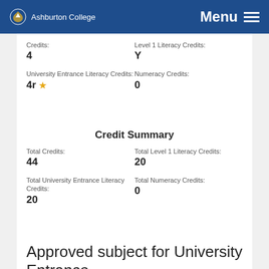Ashburton College | Menu
Credits:
4
Level 1 Literacy Credits:
Y
University Entrance Literacy Credits:
4r *
Numeracy Credits:
0
Credit Summary
Total Credits:
44
Total Level 1 Literacy Credits:
20
Total University Entrance Literacy Credits:
20
Total Numeracy Credits:
0
Approved subject for University Entrance